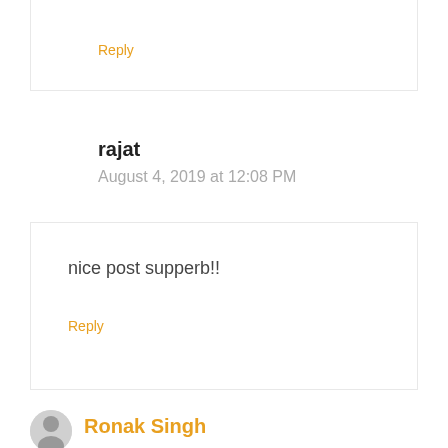Reply
rajat
August 4, 2019 at 12:08 PM
nice post supperb!!
Reply
Ronak Singh